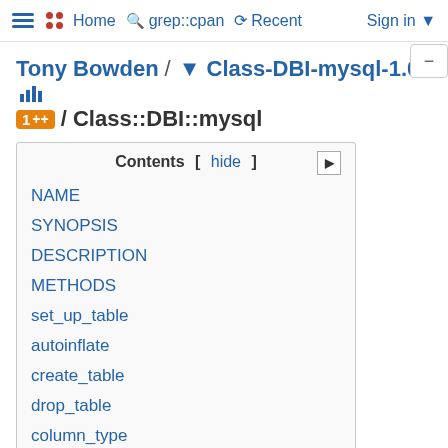Home  grep::cpan  Recent  Sign in
Tony Bowden / · Class-DBI-mysql-1.00 / Class::DBI::mysql
NAME
SYNOPSIS
DESCRIPTION
METHODS
set_up_table
autoinflate
create_table
drop_table
column_type
enum_vals
retrieve_random
SEE ALSO